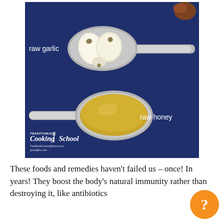[Figure (photo): Photo of two silver spoons on a dark navy blue background. Top spoon holds raw garlic cloves with label 'raw garlic'. Bottom spoon holds golden raw honey with label 'raw honey'. Traditional Cooking School logo in bottom-left corner of image.]
These foods and remedies haven't failed us – once! In years! They boost the body's natural immunity rather than destroying it, like antibiotics